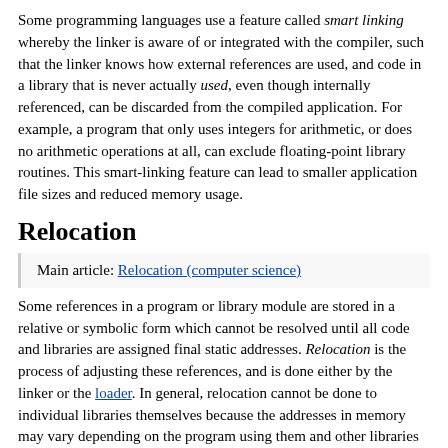Some programming languages use a feature called smart linking whereby the linker is aware of or integrated with the compiler, such that the linker knows how external references are used, and code in a library that is never actually used, even though internally referenced, can be discarded from the compiled application. For example, a program that only uses integers for arithmetic, or does no arithmetic operations at all, can exclude floating-point library routines. This smart-linking feature can lead to smaller application file sizes and reduced memory usage.
Relocation
Main article: Relocation (computer science)
Some references in a program or library module are stored in a relative or symbolic form which cannot be resolved until all code and libraries are assigned final static addresses. Relocation is the process of adjusting these references, and is done either by the linker or the loader. In general, relocation cannot be done to individual libraries themselves because the addresses in memory may vary depending on the program using them and other libraries they are combined with. Position-independent code avoids references to absolute addresses and therefore does not require relocation.